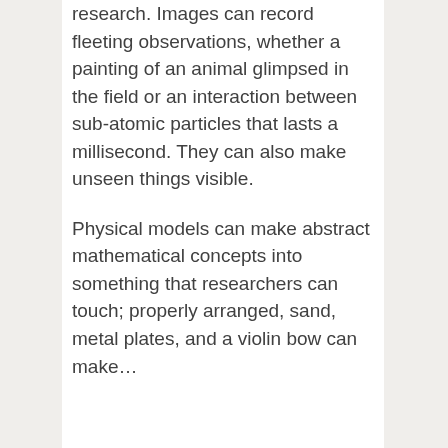research. Images can record fleeting observations, whether a painting of an animal glimpsed in the field or an interaction between sub-atomic particles that lasts a millisecond. They can also make unseen things visible.
Physical models can make abstract mathematical concepts into something that researchers can touch; properly arranged, sand, metal plates, and a violin bow can make…